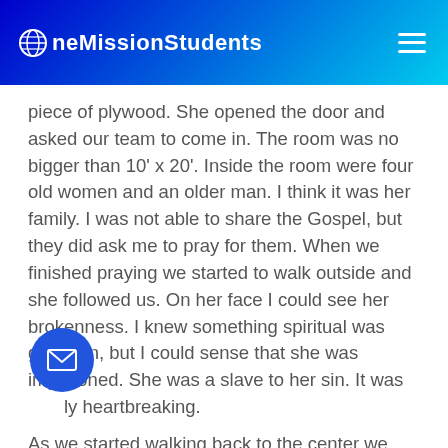OneMissionStudents
piece of plywood. She opened the door and asked our team to come in. The room was no bigger than 10' x 20'. Inside the room were four old women and an older man. I think it was her family. I was not able to share the Gospel, but they did ask me to pray for them. When we finished praying we started to walk outside and she followed us. On her face I could see her brokenness. I knew something spiritual was going on, but I could sense that she was imprisoned. She was a slave to her sin. It was utterly heartbreaking.
As we started walking back to the center we